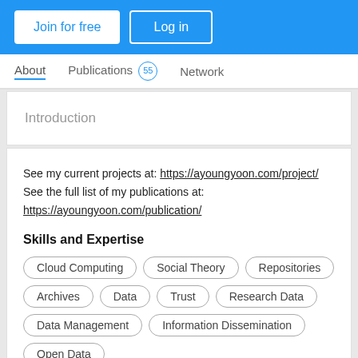Join for free  Log in
About  Publications 55  Network
Introduction
See my current projects at: https://ayoungyoon.com/project/
See the full list of my publications at: https://ayoungyoon.com/publication/
Skills and Expertise
Cloud Computing
Social Theory
Repositories
Archives
Data
Trust
Research Data
Data Management
Information Dissemination
Open Data